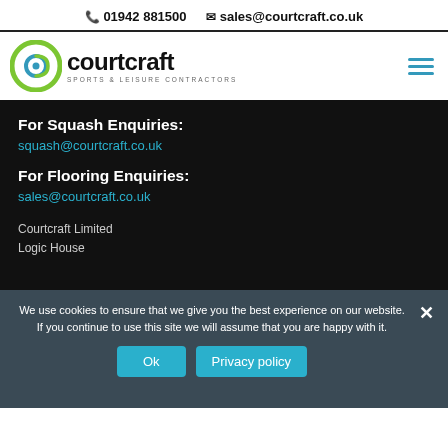📞 01942 881500   ✉ sales@courtcraft.co.uk
[Figure (logo): Courtcraft Sports & Leisure Contractors logo with circular green/teal emblem and hamburger menu icon]
For Squash Enquiries:
squash@courtcraft.co.uk
For Flooring Enquiries:
sales@courtcraft.co.uk
Courtcraft Limited
Logic House
We use cookies to ensure that we give you the best experience on our website. If you continue to use this site we will assume that you are happy with it.
Ok   Privacy policy